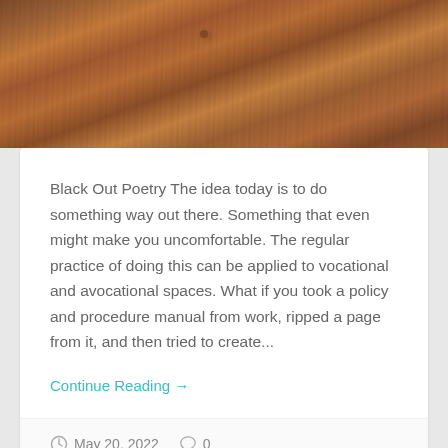[Figure (photo): Wood grain texture photo, warm brown tones]
Black Out Poetry The idea today is to do something way out there. Something that even might make you uncomfortable. The regular practice of doing this can be applied to vocational and avocational spaces. What if you took a policy and procedure manual from work, ripped a page from it, and then tried to create...
Continue Reading →
May 20, 2022   0
Haiku #3: The Quiet